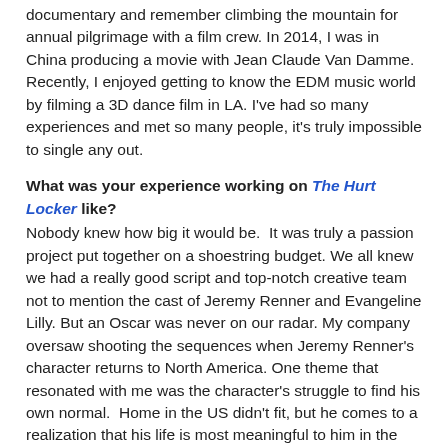documentary and remember climbing the mountain for annual pilgrimage with a film crew. In 2014, I was in China producing a movie with Jean Claude Van Damme. Recently, I enjoyed getting to know the EDM music world by filming a 3D dance film in LA. I've had so many experiences and met so many people, it's truly impossible to single any out.
What was your experience working on The Hurt Locker like? Nobody knew how big it would be. It was truly a passion project put together on a shoestring budget. We all knew we had a really good script and top-notch creative team not to mention the cast of Jeremy Renner and Evangeline Lilly. But an Oscar was never on our radar. My company oversaw shooting the sequences when Jeremy Renner's character returns to North America. One theme that resonated with me was the character's struggle to find his own normal. Home in the US didn't fit, but he comes to a realization that his life is most meaningful to him in the world dissembling of bombs in Iraq. Although not the same life and death choice, I too find my normal in the producer's world of risk and danger. I actually feed on the frenetic energy of this business and